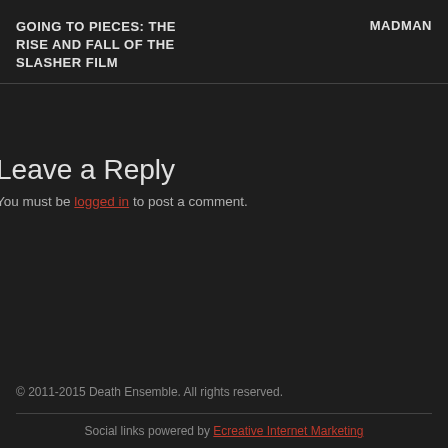GOING TO PIECES: THE RISE AND FALL OF THE SLASHER FILM   MADMAN
Leave a Reply
You must be logged in to post a comment.
© 2011-2015 Death Ensemble. All rights reserved.
Social links powered by Ecreative Internet Marketing